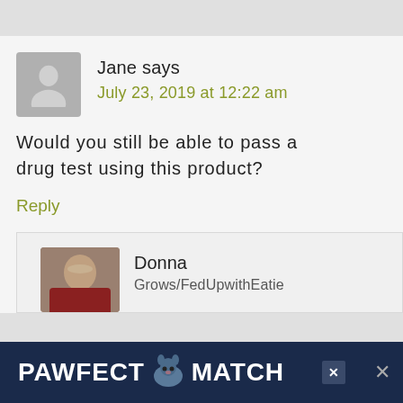Jane says
July 23, 2019 at 12:22 am
Would you still be able to pass a drug test using this product?
Reply
Donna
[Figure (infographic): PAWFECT MATCH advertisement banner with cat logo, close button, and settings icon]
PAWFECT MATCH